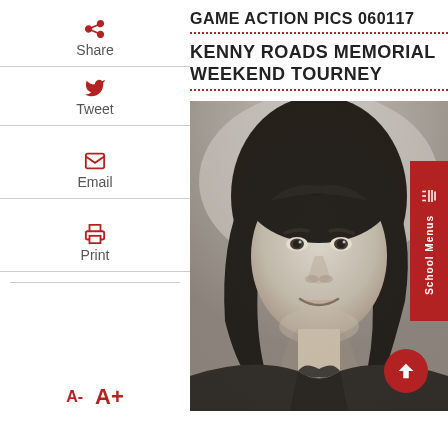GAME ACTION PICS 060117
KENNY ROADS MEMORIAL WEEKEND TOURNEY
[Figure (photo): Black and white yearbook-style portrait photo of a young man with long dark hair, wearing a dark shirt, smiling slightly.]
School Menus
Share
Tweet
Email
Print
A-  A+